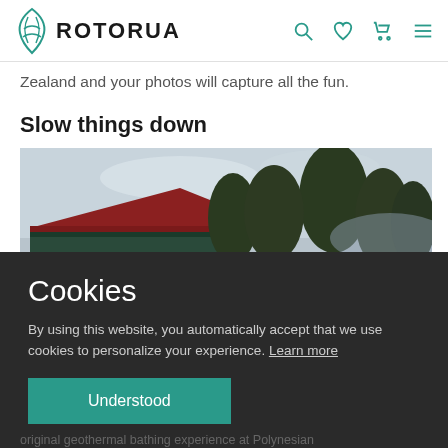ROTORUA
Zealand and your photos will capture all the fun.
Slow things down
[Figure (photo): Exterior photo of a building with red tile roof and dark trim, surrounded by trees under a cloudy sky]
Cookies
By using this website, you automatically accept that we use cookies to personalize your experience. Learn more
Understood
original geothermal bathing experience at Polynesian